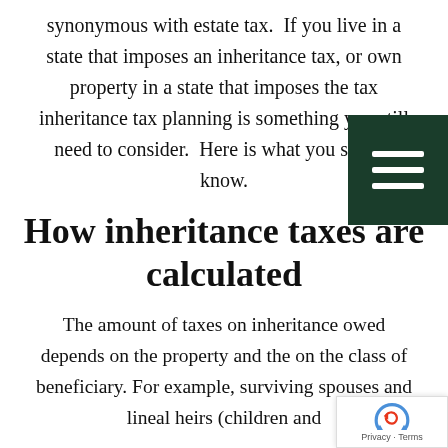synonymous with estate tax.  If you live in a state that imposes an inheritance tax, or own property in a state that imposes the tax inheritance tax planning is something you still need to consider.  Here is what you should know.
How inheritance taxes are calculated
The amount of taxes on inheritance owed depends on the property and the on the class of beneficiary. For example, surviving spouses and lineal heirs (children and